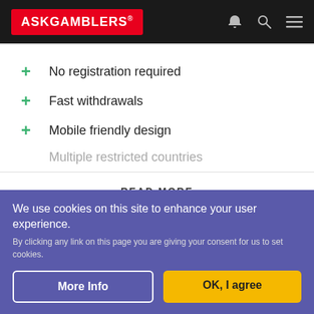ASKGAMBLERS®
No registration required
Fast withdrawals
Mobile friendly design
Multiple restricted countries
READ MORE
CASINO DETAILS
MORE DETAILS
RESPO
We use cookies on this site to enhance your user experience.
By clicking any link on this page you are giving your consent for us to set cookies.
More Info
OK, I agree